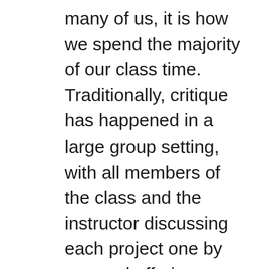many of us, it is how we spend the majority of our class time. Traditionally, critique has happened in a large group setting, with all members of the class and the instructor discussing each project one by one and offering feedback as a group. This method has value but is too often about social baggage and performance art, with the same handful of outgoing students doing most of the talking, drowning out students who are quieter or more anxious in large groups. This presentation asks a simple question: what are the most useful, most effective ways to give and receive feedback in the classroom? We have all had students we know are excellent thinkers but never